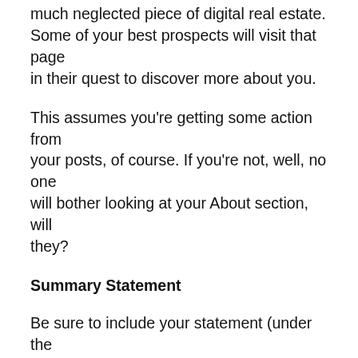much neglected piece of digital real estate. Some of your best prospects will visit that page in their quest to discover more about you.
This assumes you're getting some action from your posts, of course. If you're not, well, no one will bother looking at your About section, will they?
Summary Statement
Be sure to include your statement (under the cover pic) clearly describing who you work with and how you help them.
Step #2 – Sort Out Your Content
Many people struggle with content.